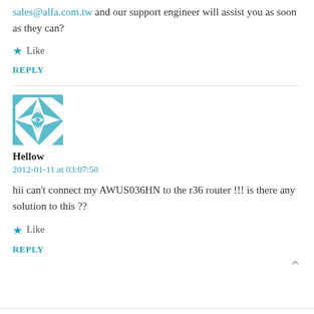sales@alfa.com.tw and our support engineer will assist you as soon as they can?
★ Like
REPLY
[Figure (illustration): Avatar image: teal and white geometric/quilt pattern square avatar]
Hellow
2012-01-11 at 03:07:50
hii can't connect my AWUS036HN to the r36 router !!! is there any solution to this ??
★ Like
REPLY